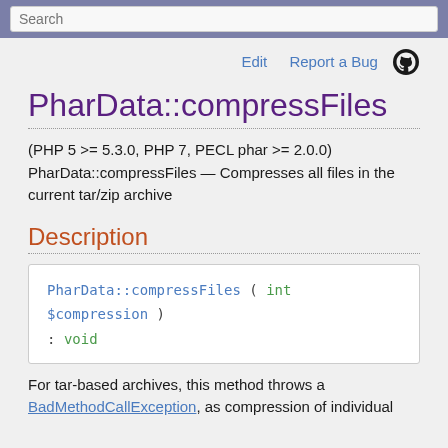Search
Edit   Report a Bug
PharData::compressFiles
(PHP 5 >= 5.3.0, PHP 7, PECL phar >= 2.0.0)
PharData::compressFiles — Compresses all files in the current tar/zip archive
Description
[Figure (screenshot): Code block showing: PharData::compressFiles ( int $compression ) : void]
For tar-based archives, this method throws a BadMethodCallException, as compression of individual